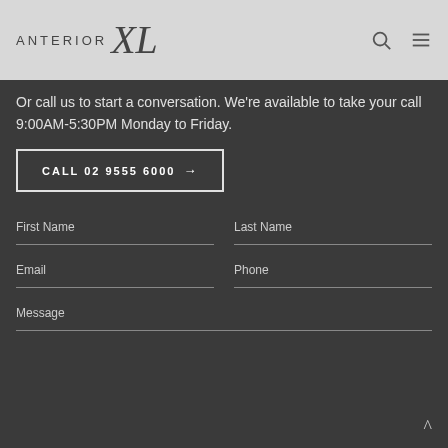ANTERIOR XL
Or call us to start a conversation. We're available to take your call 9:00AM-5:30PM Monday to Friday.
CALL 02 9555 6000 →
First Name
Last Name
Email
Phone
Message